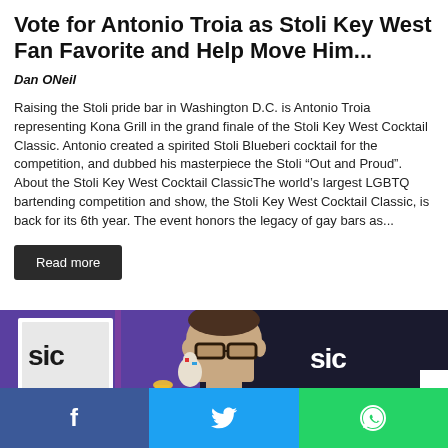Vote for Antonio Troia as Stoli Key West Fan Favorite and Help Move Him...
Dan ONeil
Raising the Stoli pride bar in Washington D.C. is Antonio Troia representing Kona Grill in the grand finale of the Stoli Key West Cocktail Classic. Antonio created a spirited Stoli Blueberi cocktail for the competition, and dubbed his masterpiece the Stoli “Out and Proud”. About the Stoli Key West Cocktail ClassicThe world’s largest LGBTQ bartending competition and show, the Stoli Key West Cocktail Classic, is back for its 6th year. The event honors the legacy of gay bars as...
Read more
[Figure (photo): Photo of a man with glasses in front of a Cocktail Classic backdrop; social sharing bar below with Facebook, Twitter, and WhatsApp icons]